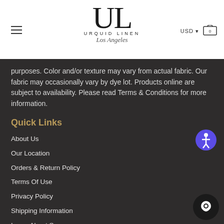[Figure (logo): Urquid Linen Los Angeles logo with large UL monogram]
purposes. Color and/or texture may vary from actual fabric. Our fabric may occasionally vary by dye lot. Products online are subject to availability. Please read Terms & Conditions for more information.
Quick Links
About Us
Our Location
Orders & Return Policy
Terms Of Use
Privacy Policy
Shipping Information
Learn About Seams
Linen Size Guide
Care Instructions